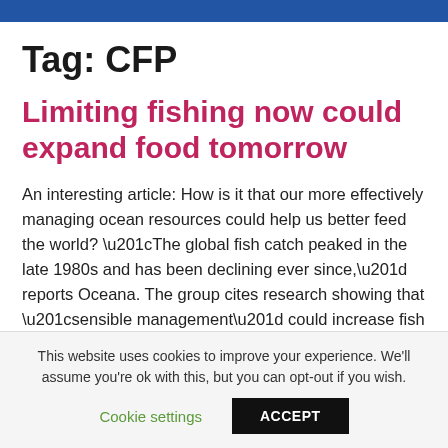Tag: CFP
Limiting fishing now could expand food tomorrow
An interesting article: How is it that our more effectively managing ocean resources could help us better feed the world? “The global fish catch peaked in the late 1980s and has been declining ever since,” reports Oceana. The group cites research showing that “sensible management” could increase fish yields up to 40 percent and increase the [...]
This website uses cookies to improve your experience. We’ll assume you’re ok with this, but you can opt-out if you wish.
Cookie settings  ACCEPT